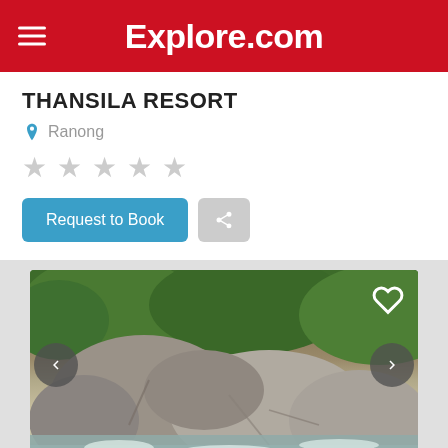Explore.com
THANSILA RESORT
Ranong
★ ★ ★ ★ ★ (unrated/empty stars)
Request to Book
[Figure (photo): Photograph of large granite boulders in a flowing river with green tropical jungle in background. Navigation arrows on left and right, heart icon top right.]